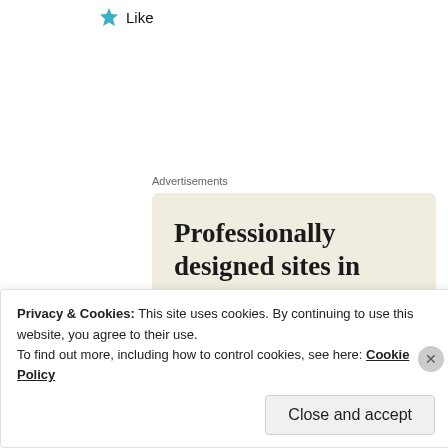[Figure (illustration): Blue star icon followed by the word 'Like']
Advertisements
[Figure (screenshot): Advertisement banner for a web design service. Cream/beige background. Large serif text reads 'Professionally designed sites in less than a week'. Green button labeled 'Explore options'. Mockup screenshots of websites on the right side. Wix logo at the bottom.]
Privacy & Cookies: This site uses cookies. By continuing to use this website, you agree to their use.
To find out more, including how to control cookies, see here: Cookie Policy
Close and accept